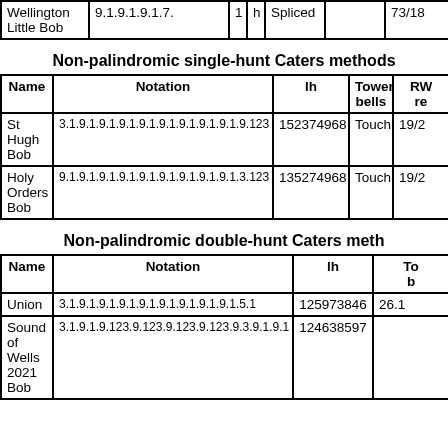| Name | Notation |  | h |  | Tower bells | RW re |
| --- | --- | --- | --- | --- | --- | --- |
| Wellington Little Bob | 9.1.9.1.9.1.7. | 1 | h | Spliced |  | 73/18 |
Non-palindromic single-hunt Caters methods
| Name | Notation | lh | Tower bells | RW re |
| --- | --- | --- | --- | --- |
| St Hugh Bob | 3.1.9.1.9.1.9.1.9.1.9.1.9.1.9.1.9.1.9.123 | 152374968 | Touch | 19/2 |
| Holy Orders Bob | 9.1.9.1.9.1.9.1.9.1.9.1.9.1.9.1.9.1.3.123 | 135274968 | Touch | 19/2 |
Non-palindromic double-hunt Caters meth...
| Name | Notation | lh | To b |
| --- | --- | --- | --- |
| Union | 3.1.9.1.9.1.9.1.9.1.9.1.9.1.9.1.9.1.5.1 | 125973846 | 26.1 |
| Sound of Wells 2021 Bob | 3.1.9.1.9.123.9.123.9.123.9.123.9.3.9.1.9.1 | 124638597 |  |